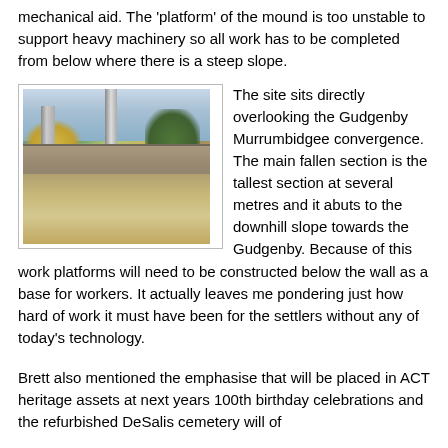mechanical aid. The 'platform' of the mound is too unstable to support heavy machinery so all work has to be completed from below where there is a steep slope.
[Figure (photo): Outdoor photograph showing stone pillars and a stone wall at what appears to be a historic cemetery or heritage site, with dry grass in the foreground and trees in the background under a partly cloudy sky.]
The site sits directly overlooking the Gudgenby Murrumbidgee convergence. The main fallen section is the tallest section at several metres and it abuts to the downhill slope towards the Gudgenby. Because of this work platforms will need to be constructed below the wall as a base for workers. It actually leaves me pondering just how hard of work it must have been for the settlers without any of today's technology.
Brett also mentioned the emphasise that will be placed in ACT heritage assets at next years 100th birthday celebrations and the refurbished DeSalis cemetery will of